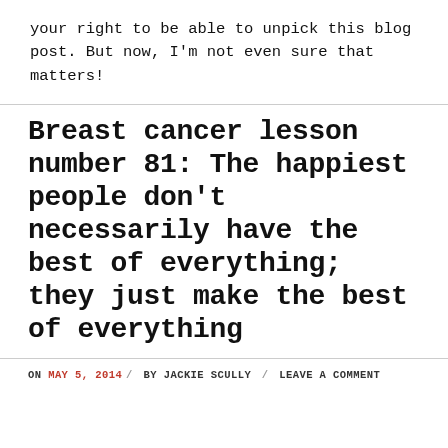your right to be able to unpick this blog post. But now, I'm not even sure that matters!
Breast cancer lesson number 81: The happiest people don't necessarily have the best of everything; they just make the best of everything
ON MAY 5, 2014 / BY JACKIE SCULLY / LEAVE A COMMENT